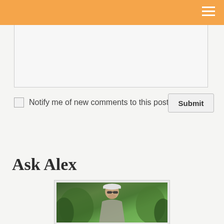[Figure (screenshot): Orange navigation bar with hamburger menu icon (three white lines) on the right]
[Figure (screenshot): Comment text area input field, light grey background with resize handle]
Notify me of new comments to this post by email
[Figure (screenshot): Submit button with bold text]
Ask Alex
[Figure (photo): Photo of a man wearing sunglasses and a cap, outdoors with green trees in background, inside a white-bordered frame]